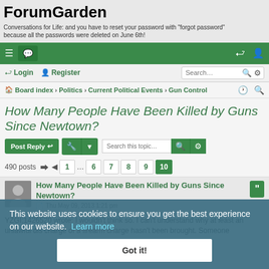ForumGarden
Conversations for Life: and you have to reset your password with "forgot password" because all the passwords were deleted on June 6th!
Board index › Politics › Current Political Events › Gun Control
How Many People Have Been Killed by Guns Since Newtown?
490 posts  1 ... 6 7 8 9 10
How Many People Have Been Killed by Guns Since Newtown?
Thu May 09, 2013 1:21 pm
YZGI;1426520 wrote: I wouldn't think so. I can't understand why at least an unlawful dis charge of a firearm charge hasn't been brought. Someone
This website uses cookies to ensure you get the best experience on our website. Learn more
Got it!